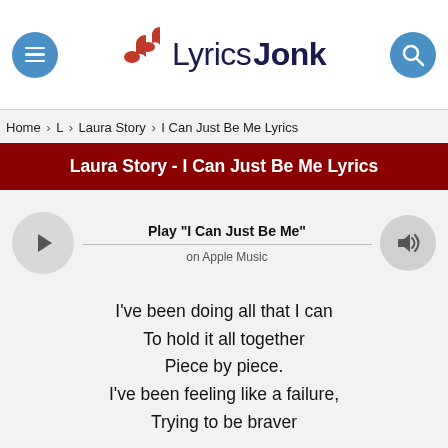LyricsJonk
Home > L > Laura Story > I Can Just Be Me Lyrics
Laura Story - I Can Just Be Me Lyrics
Play "I Can Just Be Me" on Apple Music
I've been doing all that I can
To hold it all together
Piece by piece.
I've been feeling like a failure,
Trying to be braver